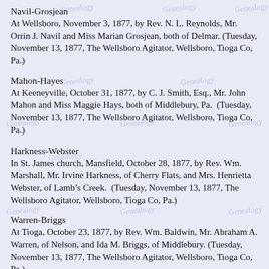Navil-Grosjean
At Wellsboro, November 3, 1877, by Rev. N. L. Reynolds, Mr. Orrin J. Navil and Miss Marian Grosjean, both of Delmar. (Tuesday, November 13, 1877, The Wellsboro Agitator, Wellsboro, Tioga Co, Pa.)
Mahon-Hayes
At Keeneyville, October 31, 1877, by C. J. Smith, Esq., Mr. John Mahon and Miss Maggie Hays, both of Middlebury, Pa.  (Tuesday, November 13, 1877, The Wellsboro Agitator, Wellsboro, Tioga Co, Pa.)
Harkness-Webster
In St. James church, Mansfield, October 28, 1877, by Rev. Wm. Marshall, Mr. Irvine Harkness, of Cherry Flats, and Mrs. Henrietta Webster, of Lamb's Creek.  (Tuesday, November 13, 1877, The Wellsboro Agitator, Wellsboro, Tioga Co, Pa.)
Warren-Briggs
At Tioga, October 23, 1877, by Rev. Wm. Baldwin, Mr. Abraham A. Warren, of Nelson, and Ida M. Briggs, of Middlebury. (Tuesday, November 13, 1877, The Wellsboro Agitator, Wellsboro, Tioga Co, Pa.)
McLane-Hunt